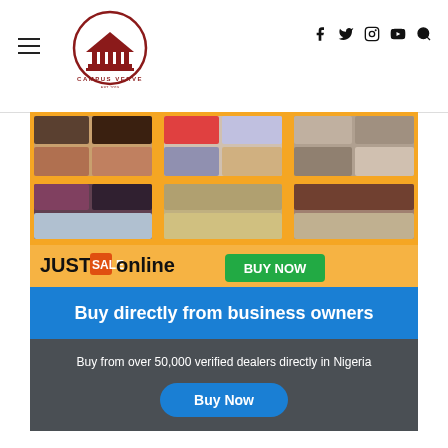Campus Verve EST. 2019
[Figure (screenshot): JustSaleOnline advertisement banner showing a grid of product images (shoes, handbags, home goods, food, cars) on an orange background with 'JUSTSaleOnline' branding and a green 'BUY NOW' button]
[Figure (infographic): Promotional banner with blue header 'Buy directly from business owners' and dark grey section reading 'Buy from over 50,000 verified dealers directly in Nigeria' with a blue 'Buy Now' rounded button]